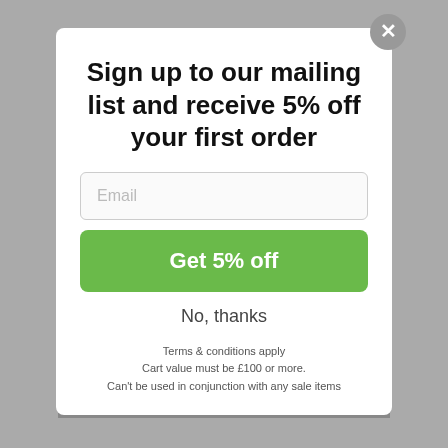[Figure (screenshot): Background website page partially visible behind modal overlay]
Sign up to our mailing list and receive 5% off your first order
Email
Get 5% off
No, thanks
Terms & conditions apply
Cart value must be £100 or more.
Can't be used in conjunction with any sale items